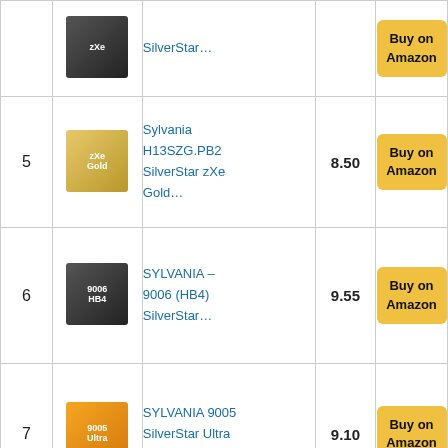| # | Image | Product | Score | Buy |
| --- | --- | --- | --- | --- |
|  |  | SilverStar... |  | Buy on Amazon |
| 5 | [image] | Sylvania H13SZG.PB2 SilverStar zXe Gold... | 8.50 | Buy on Amazon |
| 6 | [image] | SYLVANIA – 9006 (HB4) SilverStar... | 9.55 | Buy on Amazon |
| 7 | [image] | SYLVANIA 9005 SilverStar Ultra High... | 9.10 | Buy on Amazon |